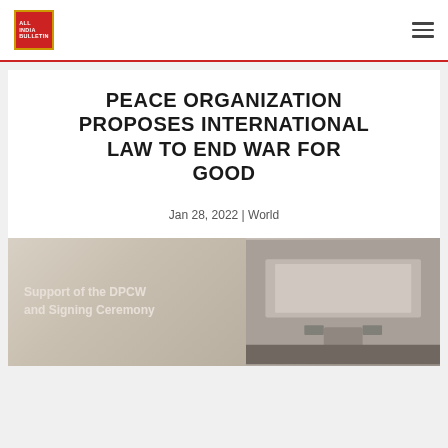ALL INDIA BULLETIN
PEACE ORGANIZATION PROPOSES INTERNATIONAL LAW TO END WAR FOR GOOD
Jan 28, 2022 | World
[Figure (photo): Room interior with a screen displaying 'Support of the DPCW and Signing Ceremony' text, with wooden furniture and a podium visible in the background.]